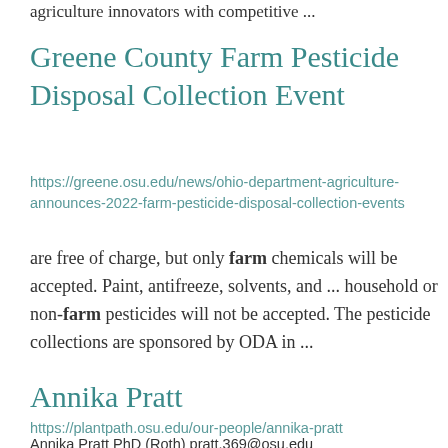agriculture innovators with competitive ...
Greene County Farm Pesticide Disposal Collection Event
https://greene.osu.edu/news/ohio-department-agriculture-announces-2022-farm-pesticide-disposal-collection-events
are free of charge, but only farm chemicals will be accepted. Paint, antifreeze, solvents, and ... household or non-farm pesticides will not be accepted. The pesticide collections are sponsored by ODA in ...
Annika Pratt
https://plantpath.osu.edu/our-people/annika-pratt
Annika Pratt PhD (Roth) pratt.369@osu.edu